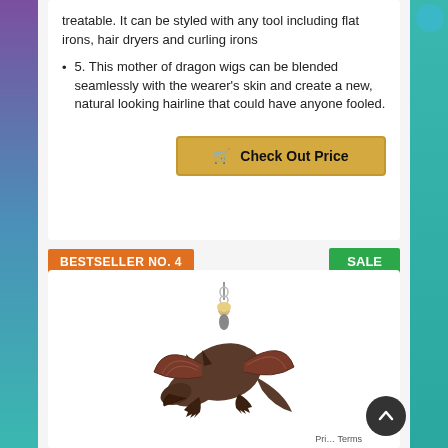treatable. It can be styled with any tool including flat irons, hair dryers and curling irons
5. This mother of dragon wigs can be blended seamlessly with the wearer's skin and create a new, natural looking hairline that could have anyone fooled.
Check Out Price
BESTSELLER NO. 4
SALE
[Figure (photo): A dragon figurine keychain showing a person riding a large dark dragon, the figure has a metal chain attached at the top]